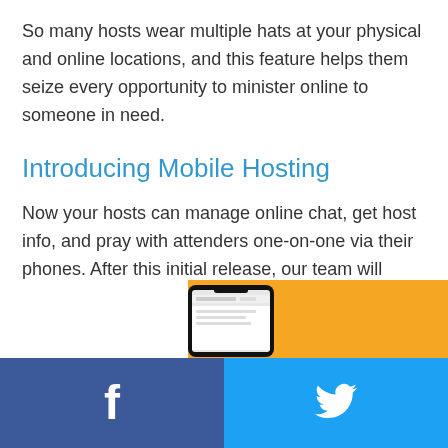So many hosts wear multiple hats at your physical and online locations, and this feature helps them seize every opportunity to minister online to someone in need.
Introducing Mobile Hosting
Now your hosts can manage online chat, get host info, and pray with attenders one-on-one via their phones. After this initial release, our team will continue to build even more host controls—host chat, slides, and more—for smartphone hosting.
[Figure (photo): A smartphone shown against an orange background, partially visible at the bottom of the page.]
Facebook and Twitter social sharing buttons in footer bar.